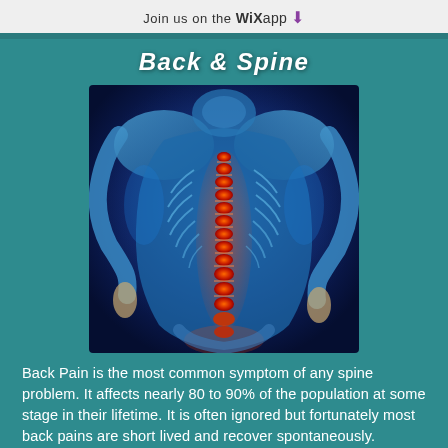Join us on the WiX app ↓
Back & Spine
[Figure (illustration): Medical illustration of a human figure from behind showing the spine highlighted in red/orange against a blue glowing body, demonstrating back and spine anatomy with visible rib cage and vertebral column.]
Back Pain is the most common symptom of any spine problem. It affects nearly 80 to 90% of the population at some stage in their lifetime. It is often ignored but fortunately most back pains are short lived and recover spontaneously.